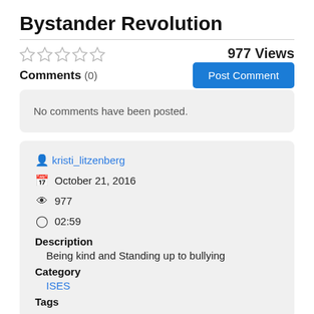Bystander Revolution
977 Views
Comments (0)
Post Comment
No comments have been posted.
kristi_litzenberg
October 21, 2016
977
02:59
Description
Being kind and Standing up to bullying
Category
ISES
Tags